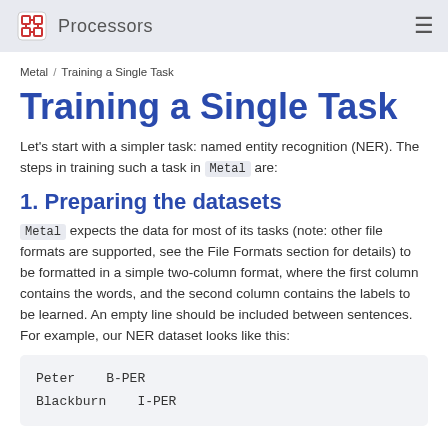Processors
Metal / Training a Single Task
Training a Single Task
Let's start with a simpler task: named entity recognition (NER). The steps in training such a task in Metal are:
1. Preparing the datasets
Metal expects the data for most of its tasks (note: other file formats are supported, see the File Formats section for details) to be formatted in a simple two-column format, where the first column contains the words, and the second column contains the labels to be learned. An empty line should be included between sentences. For example, our NER dataset looks like this:
Peter    B-PER
Blackburn    I-PER